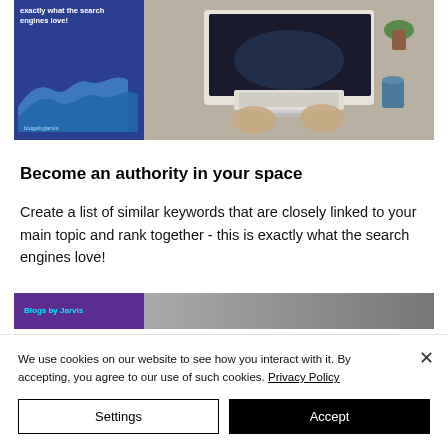[Figure (screenshot): Partial screenshot of a webpage showing a person typing at a Mac computer with a blue branded panel on the left showing a wave graphic and text 'exactly what the search engines love!']
Become an authority in your space
Create a list of similar keywords that are closely linked to your main topic and rank together - this is exactly what the search engines love!
[Figure (screenshot): Partial screenshot showing a 'Blogs by Jarvis' branded panel in purple with cyan text, and a grey image strip to the right.]
We use cookies on our website to see how you interact with it. By accepting, you agree to our use of such cookies. Privacy Policy
Settings
Accept